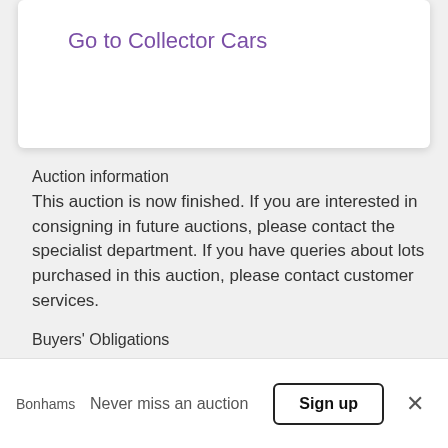Go to Collector Cars
Auction information
This auction is now finished. If you are interested in consigning in future auctions, please contact the specialist department. If you have queries about lots purchased in this auction, please contact customer services.
Buyers' Obligations
ALL BIDDERS MUST AGREE THAT THEY HAVE READ AND UNDERSTOOD BONHAMS' CONDITIONS OF SALE
Bonhams  Never miss an auction  Sign up  ×